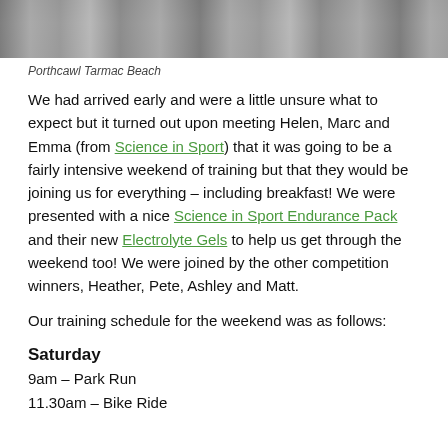[Figure (photo): Black and white photo of Porthcawl Tarmac Beach with waves and water]
Porthcawl Tarmac Beach
We had arrived early and were a little unsure what to expect but it turned out upon meeting Helen, Marc and Emma (from Science in Sport) that it was going to be a fairly intensive weekend of training but that they would be joining us for everything – including breakfast! We were presented with a nice Science in Sport Endurance Pack and their new Electrolyte Gels to help us get through the weekend too! We were joined by the other competition winners, Heather, Pete, Ashley and Matt.
Our training schedule for the weekend was as follows:
Saturday
9am – Park Run
11.30am – Bike Ride